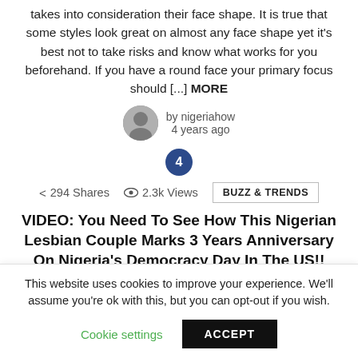takes into consideration their face shape. It is true that some styles look great on almost any face shape yet it's best not to take risks and know what works for you beforehand. If you have a round face your primary focus should [...] MORE
by nigeriahow
4 years ago
4
294 Shares   2.3k Views   BUZZ & TRENDS
VIDEO: You Need To See How This Nigerian Lesbian Couple Marks 3 Years Anniversary On Nigeria's Democracy Day In The US!!
Extremely excited lesb!an couple Ms Okoro and her bae marked their 3rd anniversary yesterday. She shared their
This website uses cookies to improve your experience. We'll assume you're ok with this, but you can opt-out if you wish.
Cookie settings   ACCEPT